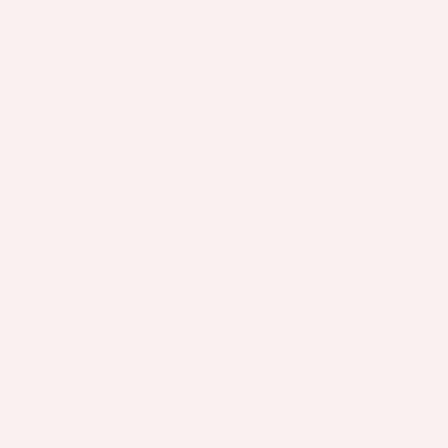Eve
wer
into
a
400
deg
ove
for
aro
an
hou
unti
the
ther
in
the
mea
reg
135
Not
I
put
the